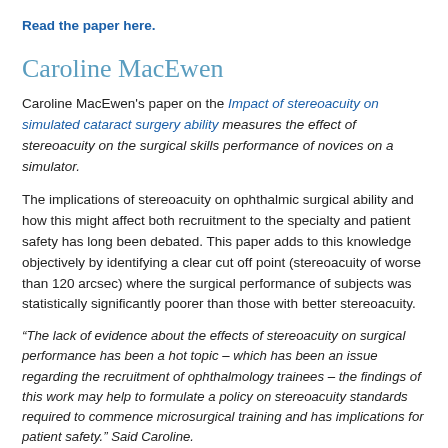Read the paper here.
Caroline MacEwen
Caroline MacEwen's paper on the Impact of stereoacuity on simulated cataract surgery ability measures the effect of stereoacuity on the surgical skills performance of novices on a simulator.
The implications of stereoacuity on ophthalmic surgical ability and how this might affect both recruitment to the specialty and patient safety has long been debated. This paper adds to this knowledge objectively by identifying a clear cut off point (stereoacuity of worse than 120 arcsec) where the surgical performance of subjects was statistically significantly poorer than those with better stereoacuity.
“The lack of evidence about the effects of stereoacuity on surgical performance has been a hot topic – which has been an issue regarding the recruitment of ophthalmology trainees – the findings of this work may help to formulate a policy on stereoacuity standards required to commence microsurgical training and has implications for patient safety.” Said Caroline.